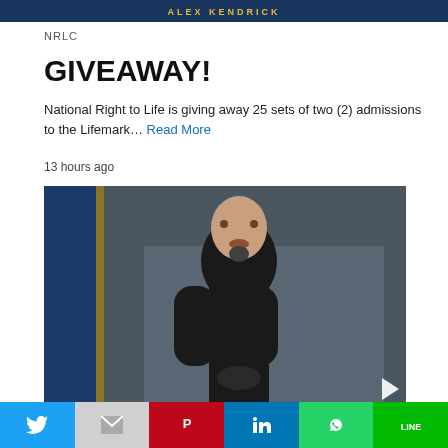[Figure (photo): Top banner image with dark blue background and text 'ALEX KENDRICK' in gold letters]
NRLC
GIVEAWAY!
National Right to Life is giving away 25 sets of two (2) admissions to the Lifemark… Read More
13 hours ago
[Figure (photo): Photo of a large bald man with a goatee wearing a black hoodie, standing in front of a flag with gold fringe. A white play/arrow button is visible in the lower right corner.]
Twitter | Gmail | Pinterest | LinkedIn | WhatsApp | LINE social share buttons